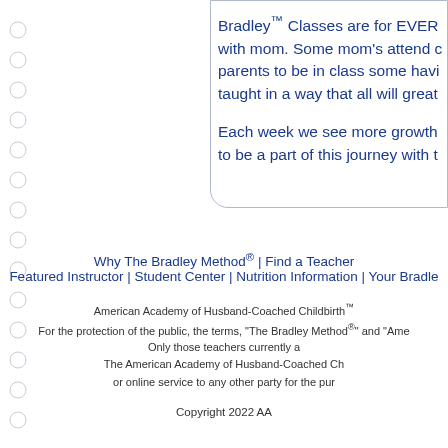Bradley™ Classes are for EVER with mom. Some mom's attend c parents to be in class some havi taught in a way that all will great

Each week we see more growth to be a part of this journey with t
Why The Bradley Method® | Find a Teacher Featured Instructor | Student Center | Nutrition Information | Your Bradle
American Academy of Husband-Coached Childbirth™ For the protection of the public, the terms, "The Bradley Method®" and "Ame Only those teachers currently a The American Academy of Husband-Coached Ch or online service to any other party for the pur
Copyright 2022 AA